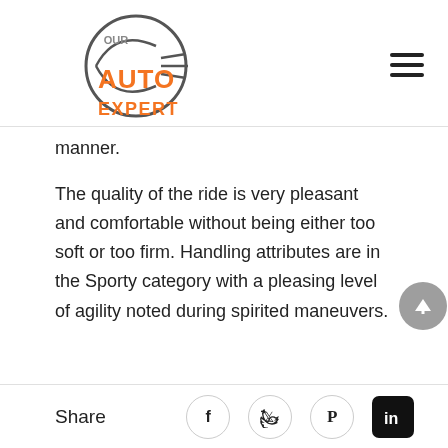[Figure (logo): Our Auto Expert logo with orange text and circular graphic with gear/wheel motif]
manner.
The quality of the ride is very pleasant and comfortable without being either too soft or too firm. Handling attributes are in the Sporty category with a pleasing level of agility noted during spirited maneuvers.
Share